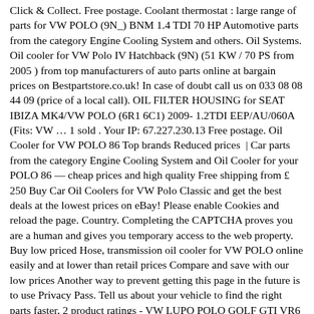Click & Collect. Free postage. Coolant thermostat : large range of parts for VW POLO (9N_) BNM 1.4 TDI 70 HP Automotive parts from the category Engine Cooling System and others. Oil Systems. Oil cooler for VW Polo IV Hatchback (9N) (51 KW / 70 PS from 2005 ) from top manufacturers of auto parts online at bargain prices on Bestpartstore.co.uk! In case of doubt call us on 033 08 08 44 09 (price of a local call). OIL FILTER HOUSING for SEAT IBIZA MK4/VW POLO (6R1 6C1) 2009- 1.2TDI EEP/AU/060A (Fits: VW … 1 sold . Your IP: 67.227.230.13 Free postage. Oil Cooler for VW POLO 86 Top brands Reduced prices | Car parts from the category Engine Cooling System and Oil Cooler for your POLO 86 — cheap prices and high quality Free shipping from £ 250 Buy Car Oil Coolers for VW Polo Classic and get the best deals at the lowest prices on eBay! Please enable Cookies and reload the page. Country. Completing the CAPTCHA proves you are a human and gives you temporary access to the web property. Buy low priced Hose, transmission oil cooler for VW POLO online easily and at lower than retail prices Compare and save with our low prices Another way to prevent getting this page in the future is to use Privacy Pass. Tell us about your vehicle to find the right parts faster, 2 product ratings - VW LUPO POLO GOLF GTI VR6 G60 CORRADO MOCAL 13 ROW 1/2BSP OIL COOLER OC5133-8 QX. Your basket is empty . Sign in. All; Auction; Buy it now; Sort: Best Match. TOP auto parts brands from a single source for your car » Free shipping from £ 250 Coolant Thermostat for VW POLO (9N_) BNM 1.4 TDI 70 HP (59 ) Filter £ 9.98 # W...